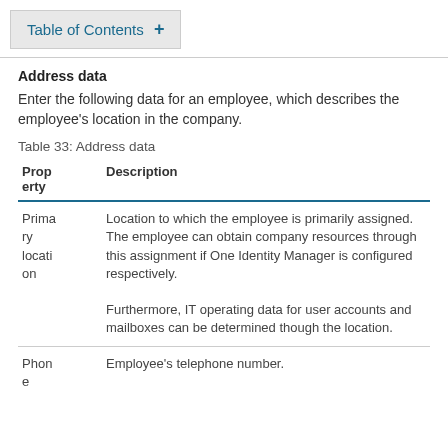Table of Contents +
Address data
Enter the following data for an employee, which describes the employee's location in the company.
Table 33: Address data
| Property | Description |
| --- | --- |
| Primary location | Location to which the employee is primarily assigned. The employee can obtain company resources through this assignment if One Identity Manager is configured respectively.

Furthermore, IT operating data for user accounts and mailboxes can be determined though the location. |
| Phone | Employee's telephone number. |